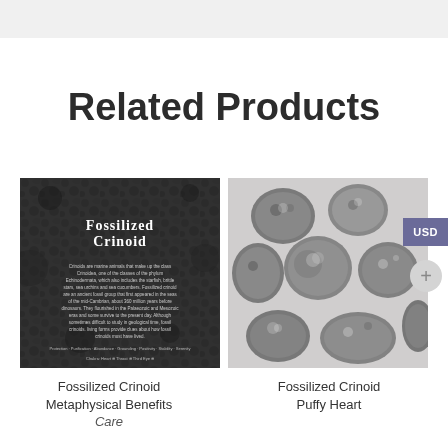Related Products
[Figure (photo): Fossilized Crinoid product image with text overlay showing title 'Fossilized Crinoid', description text about crinoids, and footer with attributes: Protection, Purification, Abundance, Grounding, Positivity, Stability, Serenity, with icons for Chakra, Heart, Third Eye, Third Eye]
[Figure (photo): Collection of grey and white fossilized crinoid puffy heart shaped tumbled stones on white background]
Fossilized Crinoid Metaphysical Benefits Care
Fossilized Crinoid Puffy Heart